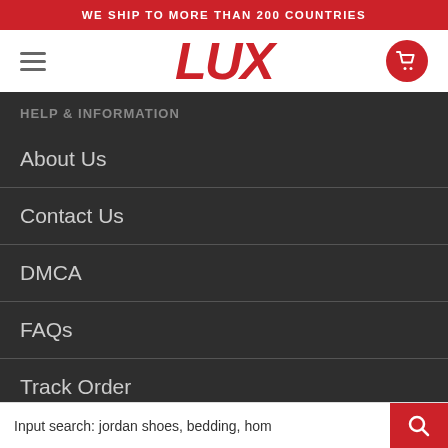WE SHIP TO MORE THAN 200 COUNTRIES
[Figure (logo): LUX store logo in red bold italic text, with hamburger menu icon on left and red circular cart icon on right]
HELP & INFORMATION
About Us
Contact Us
DMCA
FAQs
Track Order
Input search: jordan shoes, bedding, hom